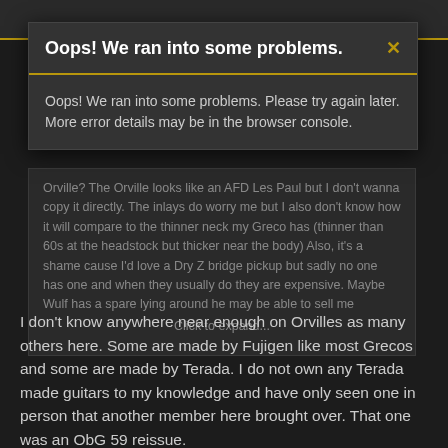Oops! We ran into some problems.
Oops! We ran into some problems. Please try again later. More error details may be in the browser console.
Orville? The Orville looks like an AFD Les Paul but I don't wanna copy it directly. The inlays do worry me but I also don't know how it will compare to the thinner neck my Greco has (thinner than 60s at the headstock but thicker near the body) Also, it's a shame cause I'd love a Dry Z bridge pickup but sadly no one has one and when they usually do they are expensive. Maybe Wulf has a spare lying around he may be able to sell me Click to expand...
I don't know anywhere near enough on Orvilles as many others here. Some are made by Fujigen like most Grecos and some are made by Terada. I do not own any Terada made guitars to my knowledge and have only seen one in person that another member here brought over. That one was an ObG 59 reissue.
So the Orville/ObG people here need to comment on that for you.